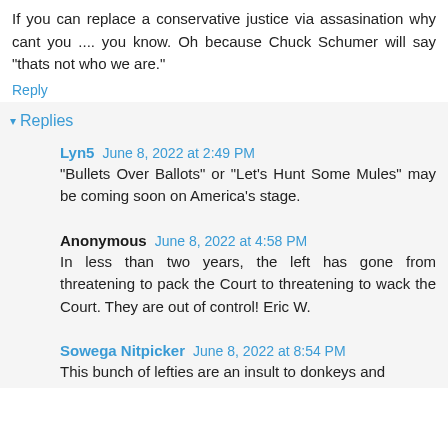If you can replace a conservative justice via assasination why cant you .... you know. Oh because Chuck Schumer will say "thats not who we are."
Reply
▾ Replies
Lyn5  June 8, 2022 at 2:49 PM
"Bullets Over Ballots" or "Let's Hunt Some Mules" may be coming soon on America's stage.
Anonymous  June 8, 2022 at 4:58 PM
In less than two years, the left has gone from threatening to pack the Court to threatening to wack the Court. They are out of control! Eric W.
Sowega Nitpicker  June 8, 2022 at 8:54 PM
This bunch of lefties are an insult to donkeys and